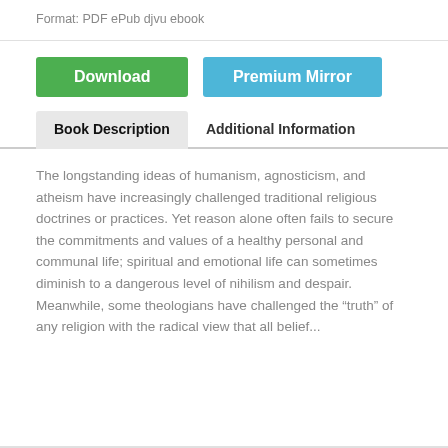Format: PDF ePub djvu ebook
[Figure (other): Download button (green) and Premium Mirror button (blue)]
Book Description
Additional Information
The longstanding ideas of humanism, agnosticism, and atheism have increasingly challenged traditional religious doctrines or practices. Yet reason alone often fails to secure the commitments and values of a healthy personal and communal life; spiritual and emotional life can sometimes diminish to a dangerous level of nihilism and despair. Meanwhile, some theologians have challenged the “truth” of any religion with the radical view that all belief...